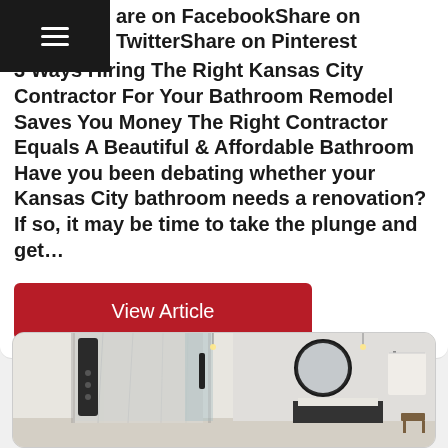Share on FacebookShare on TwitterShare on Pinterest
3 Ways Hiring The Right Kansas City Contractor For Your Bathroom Remodel Saves You Money The Right Contractor Equals A Beautiful & Affordable Bathroom Have you been debating whether your Kansas City bathroom needs a renovation? If so, it may be time to take the plunge and get...
View Article
[Figure (photo): Photo of a renovated bathroom showing a glass-enclosed shower with marble tile walls, a black shower panel/column, a round mirror above a vanity, and a white towel hanging on the wall.]